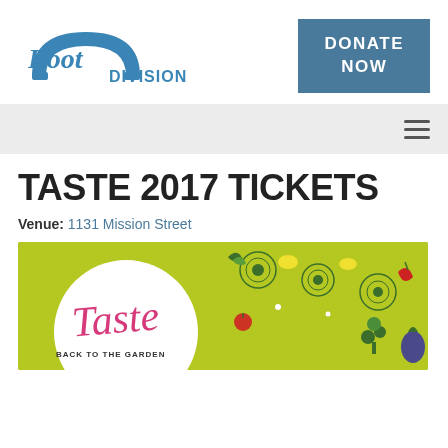[Figure (logo): Root Division logo — blue semicircle arch with 'Root' in blue italic serif and 'DIVISION' in blue sans-serif uppercase]
[Figure (other): Blue rectangle button with white bold uppercase text: DONATE NOW]
[Figure (other): Light gray navigation bar with hamburger menu icon (three horizontal lines) on the right]
TASTE 2017 TICKETS
Venue: 1131 Mission Street
[Figure (illustration): Event promotional image with lime green background, 'Taste' in pink script, 'BACK TO THE GARDEN' in dark text below, decorated with illustrated vegetables and fruits (artichokes, lemons, peppers, tomatoes, herbs)]